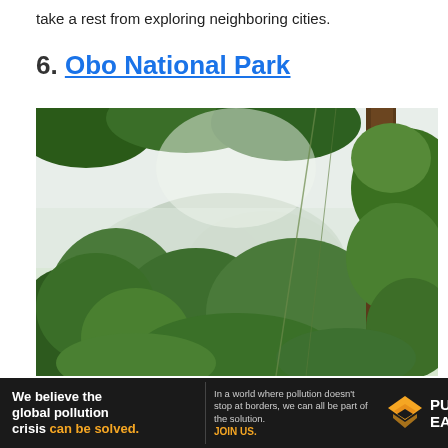take a rest from exploring neighboring cities.
6. Obo National Park
[Figure (photo): Tropical rainforest scene with lush green vegetation in the foreground and mist-covered mountains in the background. Dense foliage, tree trunks covered in moss, and bright light filtering through the canopy.]
[Figure (infographic): Pure Earth advertisement banner: black background with white bold text 'We believe the global pollution crisis can be solved.' with 'can be solved.' in orange. Middle section says 'In a world where pollution doesn't stop at borders, we can all be part of the solution. JOIN US.' Right section shows Pure Earth logo (orange/yellow diamond chevron icon) with 'PURE EARTH' text in white.]